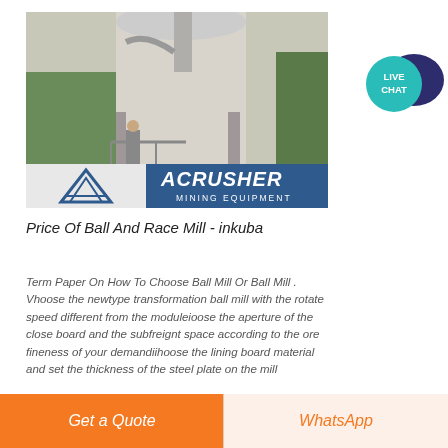[Figure (photo): Industrial mill/grinding facility interior showing large silo or tank structure, a worker standing on the floor, and an ACRUSHER Mining Equipment logo overlay in the lower portion of the image.]
Price Of Ball And Race Mill - inkuba
Term Paper On How To Choose Ball Mill Or Ball Mill . Vhoose the newtype transformation ball mill with the rotate speed different from the moduleioose the aperture of the close board and the subfreignt space according to the ore fineness of your demandiihoose the lining board material and set the thickness of the steel plate on the mill
[Figure (logo): Live Chat speech bubble icon — teal circle with white text LIVE CHAT and a dark navy speech bubble behind it.]
Get a Quote
WhatsApp